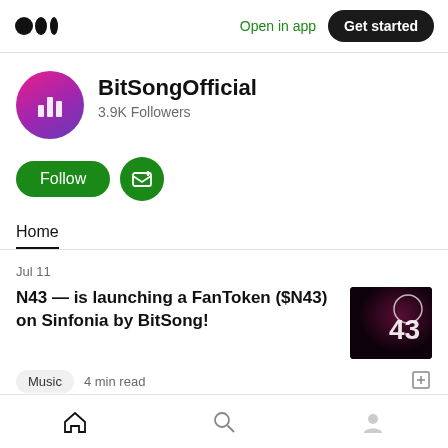Medium logo | Open in app | Get started
[Figure (logo): BitSongOfficial profile avatar - pink/purple gradient circle with white bar chart icon]
BitSongOfficial
3.9K Followers
Follow | Subscribe button
Home
Jul 11
N43 — is launching a FanToken ($N43) on Sinfonia by BitSong!
[Figure (photo): Dark concert photo showing number 43 illuminated]
Music  4 min read
Home | Search | Profile navigation icons